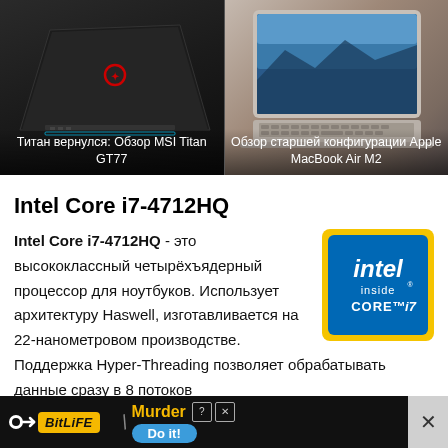[Figure (photo): Two laptop images side by side. Left: MSI Titan GT77 gaming laptop (black, viewed from back/top). Right: Apple MacBook Air M2 (silver, open, showing screen with landscape). Both have Russian text captions overlaid.]
Титан вернулся: Обзор MSI Titan GT77
Обзор старшей конфигурации Apple MacBook Air M2
Intel Core i7-4712HQ
Intel Core i7-4712HQ - это высококлассный четырёхъядерный процессор для ноутбуков. Использует архитектуру Haswell, изготавливается на 22-нанометровом производстве. Поддержка Hyper-Threading позволяет обрабатывать данные сразу в 8 потоков
[Figure (logo): Intel Inside Core i7 badge logo — blue square badge with Intel logo and 'inside CORE i7' text]
[Figure (other): Advertisement banner: BitLife app ad with 'Murder Do it!' text and blue button]